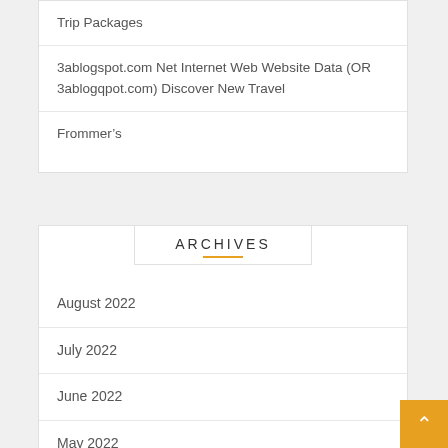Trip Packages
3ablogspot.com Net Internet Web Website Data (OR 3ablogqpot.com) Discover New Travel
Frommer's
ARCHIVES
August 2022
July 2022
June 2022
May 2022